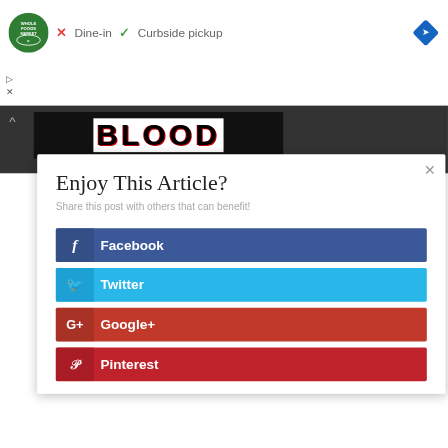[Figure (screenshot): Whole Foods Market advertisement banner showing logo, X Dine-in, checkmark Curbside pickup, and navigation arrow icon]
[Figure (photo): Dark background with 'BLOOD' text in stylized horror font with red splatter effects]
Enjoy This Article?
Share this post with others that can benefit!
Facebook
Twitter
Google+
Pinterest